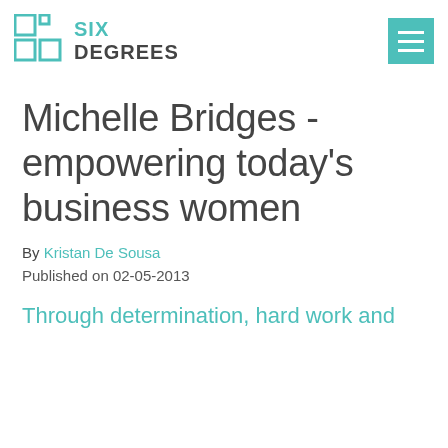SIX DEGREES
Michelle Bridges - empowering today's business women
By Kristan De Sousa
Published on 02-05-2013
Through determination, hard work and